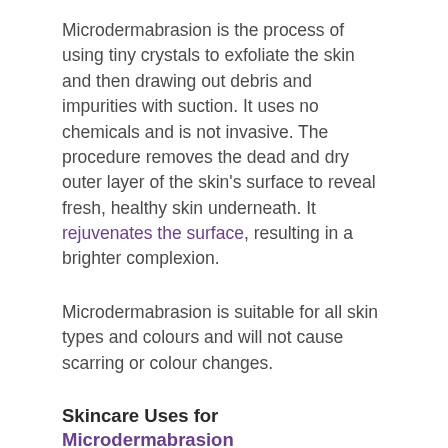Microdermabrasion is the process of using tiny crystals to exfoliate the skin and then drawing out debris and impurities with suction. It uses no chemicals and is not invasive. The procedure removes the dead and dry outer layer of the skin's surface to reveal fresh, healthy skin underneath. It rejuvenates the surface, resulting in a brighter complexion.
Microdermabrasion is suitable for all skin types and colours and will not cause scarring or colour changes.
Skincare Uses for Microdermabrasion
Acne/blackheads
Microdermabrasion can reduce acne by clearing away dead skin cells and impurities that can block